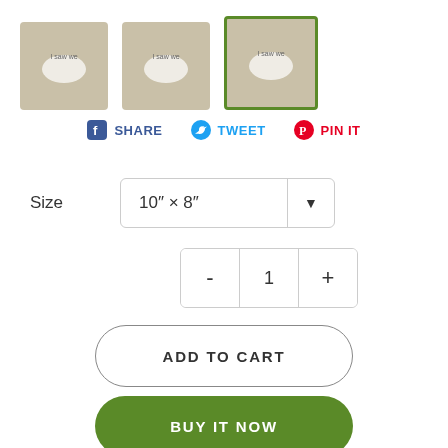[Figure (screenshot): Three product thumbnail images of art prints on tan/beige background. The third (rightmost) thumbnail is selected with a green border.]
SHARE   TWEET   PIN IT
Size  10" × 8"
- 1 +
ADD TO CART
BUY IT NOW
Design Description